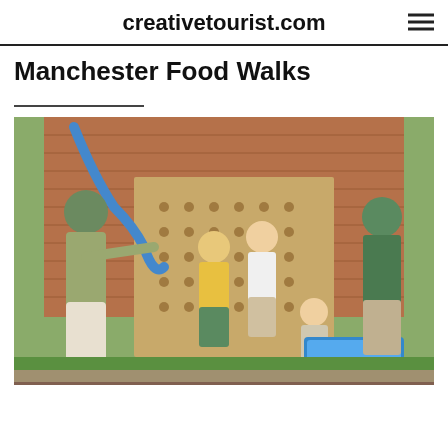creativetourist.com
Manchester Food Walks
[Figure (photo): Children and adults playing with a water play wall installation outdoors. A woman in green top and white skirt assists children at a wooden pegboard wall with blue tubes and water channels. A toddler stands at a blue water tray on the right. Adults in the background watch. Brick wall visible behind.]